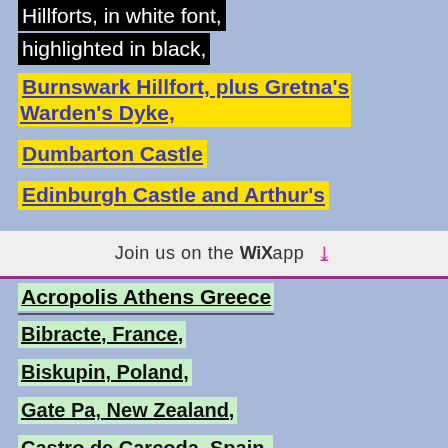Hillforts, in white font, highlighted in black,
Burnswark Hillfort, plus Gretna's Warden's Dyke,
Dumbarton Castle
Edinburgh Castle and Arthur's
Join us on the WiX app
Acropolis Athens Greece
Bibracte, France,
Biskupin, Poland,
Gate Pa, New Zealand,
Castro de Carcoda, Spain,
Kelheim Hillfort, Germany,
Alesia, France plus a article on Holidays in France